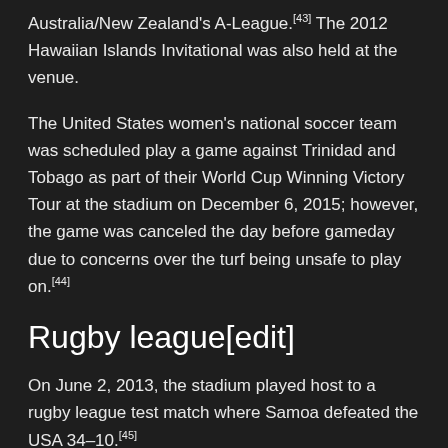Australia/New Zealand's A-League.[43] The 2012 Hawaiian Islands Invitational was also held at the venue.
The United States women's national soccer team was scheduled play a game against Trinidad and Tobago as part of their World Cup Winning Victory Tour at the stadium on December 6, 2015; however, the game was canceled the day before gameday due to concerns over the turf being unsafe to play on.[44]
Rugby league[edit]
On June 2, 2013, the stadium played host to a rugby league test match where Samoa defeated the USA 34–10.[45]
In June, the Brisbane Broncos from the Australasian-based National Rugby League (NRL) competition organized for a